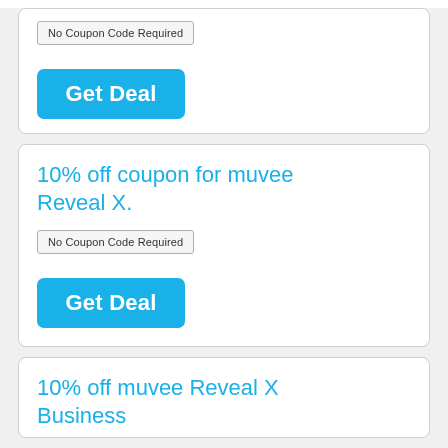No Coupon Code Required
Get Deal
10% off coupon for muvee Reveal X.
No Coupon Code Required
Get Deal
10% off muvee Reveal X Business